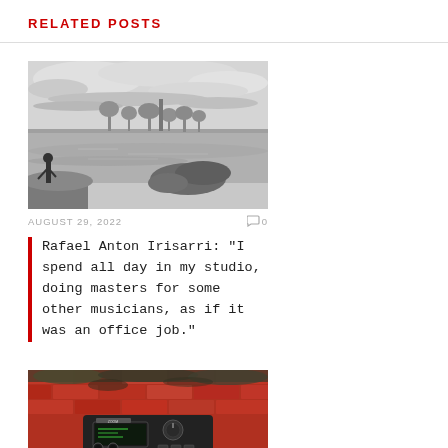RELATED POSTS
[Figure (photo): Black and white photo of a person standing by a river or lake, with rocks and trees in the background and cloudy sky]
AUGUST 29, 2022   💬 0
Rafael Anton Irisarri: "I spend all day in my studio, doing masters for some other musicians, as if it was an office job."
[Figure (photo): Color photo of audio recording equipment (field recorder or similar device) placed on a weathered red brick surface]
JULY 19, 2022   💬 0